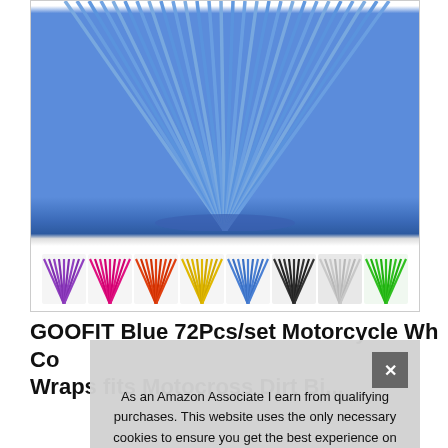[Figure (photo): Product photo showing a bundle of blue plastic spoke wraps/covers fanned out from bottom, with 8 color swatch thumbnails below showing purple, pink/hot pink, orange/red, yellow, blue, black, white/grey, and green variants]
GOOFIT Blue 72Pcs/set Motorcycle Wh... Co... Wraps fits Motocross Dirt Bi...
As an Amazon Associate I earn from qualifying purchases. This website uses the only necessary cookies to ensure you get the best experience on our website. More information